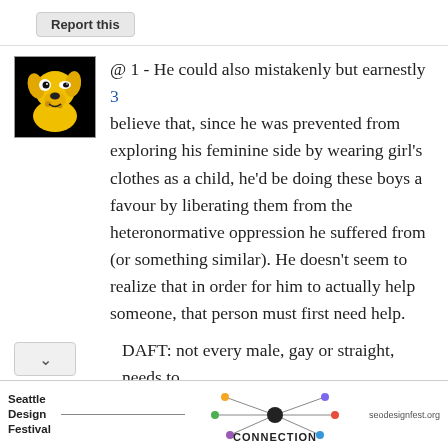Report this
@ 1 - He could also mistakenly but earnestly believe that, since he was prevented from exploring his feminine side by wearing girl's clothes as a child, he'd be doing these boys a favour by liberating them from the heteronormative oppression he suffered from (or something similar). He doesn't seem to realize that in order for him to actually help someone, that person must first need help.
DAFT: not every male, gay or straight, needs to express his feminine side by wearing women's
[Figure (screenshot): Seattle Design Festival CONNECTION advertisement banner with network graphic and seodesignfest.org URL]